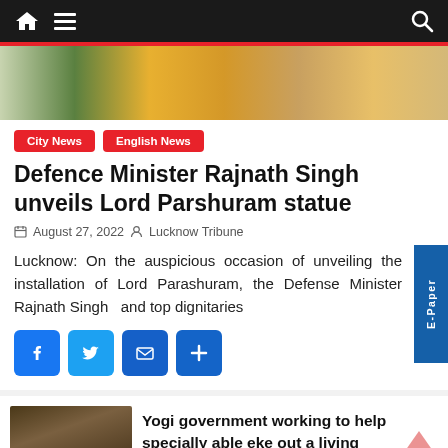Navigation bar with home, menu, and search icons
[Figure (photo): Cropped photo of people in traditional/formal attire at a ceremony]
City News   English News
Defence Minister Rajnath Singh unveils Lord Parshuram statue
August 27, 2022   Lucknow Tribune
Lucknow: On the auspicious occasion of unveiling the installation of Lord Parashuram, the Defense Minister Rajnath Singh  and top dignitaries
[Figure (screenshot): Social share buttons: Facebook, Twitter, Email, Share/Add]
[Figure (photo): Thumbnail photo of a person in formal attire at a podium]
Yogi government working to help specially able eke out a living